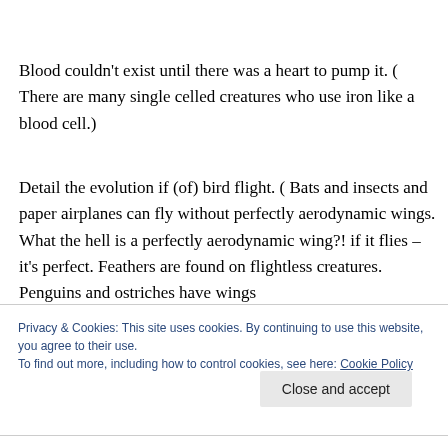Blood couldn't exist until there was a heart to pump it. ( There are many single celled creatures who use iron like a blood cell.)
Detail the evolution if (of) bird flight. ( Bats and insects and paper airplanes can fly without perfectly aerodynamic wings. What the hell is a perfectly aerodynamic wing?! if it flies – it's perfect. Feathers are found on flightless creatures. Penguins and ostriches have wings
Privacy & Cookies: This site uses cookies. By continuing to use this website, you agree to their use.
To find out more, including how to control cookies, see here: Cookie Policy
Close and accept